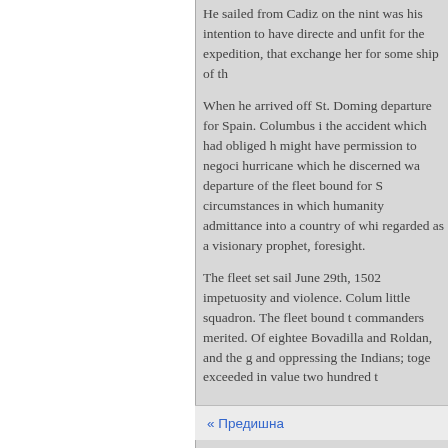He sailed from Cadiz on the nint was his intention to have directe and unfit for the expedition, that exchange her for some ship of th

When he arrived off St. Doming departure for Spain. Columbus i the accident which had obliged h might have permission to negoci hurricane which he discerned wa departure of the fleet bound for S circumstances in which humanity admittance into a country of whi regarded as a visionary prophet, foresight.

The fleet set sail June 29th, 1502 impetuosity and violence. Colum little squadron. The fleet bound t commanders merited. Of eightee Bovadilla and Roldan, and the g and oppressing the Indians; toge exceeded in value two hundred t
« Предишна